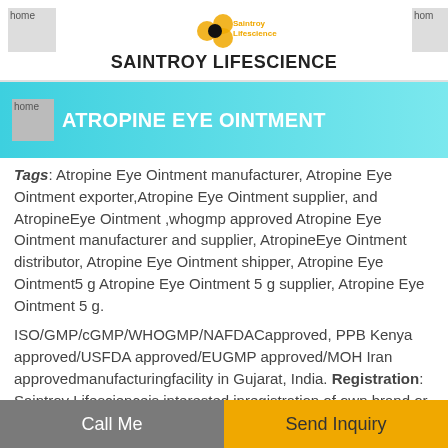SAINTROY LIFESCIENCE
ATROPINE EYE OINTMENT
Tags: Atropine Eye Ointment manufacturer, Atropine Eye Ointment exporter,Atropine Eye Ointment supplier, and AtropineEye Ointment ,whogmp approved Atropine Eye Ointment manufacturer and supplier, AtropineEye Ointment distributor, Atropine Eye Ointment shipper, Atropine Eye Ointment5 g Atropine Eye Ointment 5 g supplier, Atropine Eye Ointment 5 g.
ISO/GMP/cGMP/WHOGMP/NAFDACapproved, PPB Kenya approved/USFDA approved/EUGMP approved/MOH Iran approvedmanufacturingfacility in Gujarat, India. Registration: Saintroy Lifescienceis interested inregistration of own brand or customer brands in
Call Me    Send Inquiry